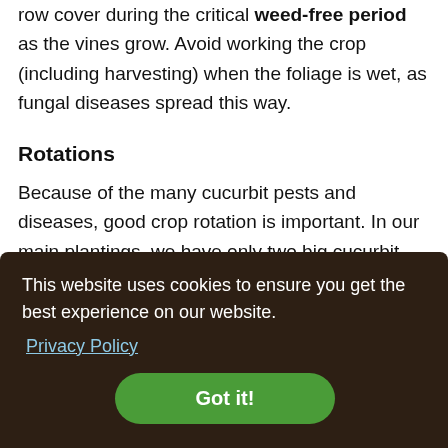row cover during the critical weed-free period as the vines grow. Avoid working the crop (including harvesting) when the foliage is wet, as fungal diseases spread this way.
Rotations
Because of the many cucurbit pests and diseases, good crop rotation is important. In our main plantings, we have only two big cucurbit plantings, winter squash and watermelon. These are three years and seven years apart in our 10-year rotation. Cucumbers are planted in [obscured] ad [obscured] e past [obscured] ants [obscured] n [obscured] ests. Cucumber beetles are quite mobile, so rotation to a field
This website uses cookies to ensure you get the best experience on our website.
Privacy Policy
Got it!